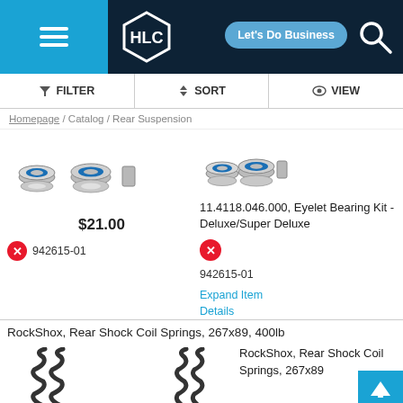[Figure (screenshot): HLC website header with hamburger menu, HLC hexagon logo, Let's Do Business button, and search icon]
[Figure (infographic): Filter bar with FILTER, SORT, VIEW options]
Homepage / Catalog / Rear Suspension
[Figure (photo): Eyelet bearing kit parts - bearings, spacers on left side]
[Figure (photo): Eyelet bearing kit parts - bearings, spacers on right side]
11.4118.046.000, Eyelet Bearing Kit - Deluxe/Super Deluxe
942615-01
Expand Item Details
$21.00
942615-01
RockShox, Rear Shock Coil Springs, 267x89, 400lb
[Figure (photo): Coil spring left]
[Figure (photo): Coil spring right]
RockShox, Rear Shock Coil Springs, 267x89